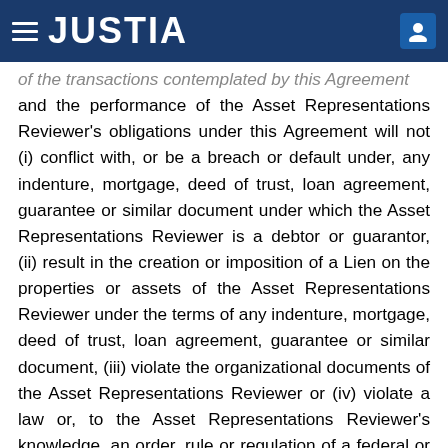JUSTIA
of the transactions contemplated by this Agreement and the performance of the Asset Representations Reviewer's obligations under this Agreement will not (i) conflict with, or be a breach or default under, any indenture, mortgage, deed of trust, loan agreement, guarantee or similar document under which the Asset Representations Reviewer is a debtor or guarantor, (ii) result in the creation or imposition of a Lien on the properties or assets of the Asset Representations Reviewer under the terms of any indenture, mortgage, deed of trust, loan agreement, guarantee or similar document, (iii) violate the organizational documents of the Asset Representations Reviewer or (iv) violate a law or, to the Asset Representations Reviewer's knowledge, an order, rule or regulation of a federal or State court, regulatory body, administrative agency or other governmental instrumentality having jurisdiction over